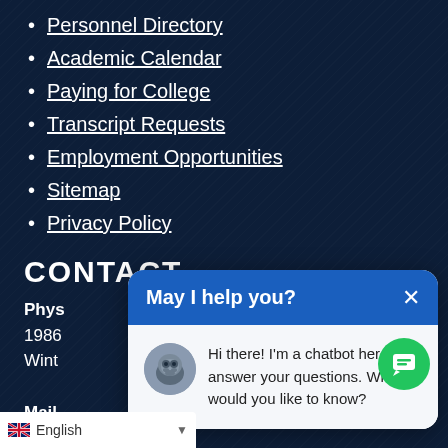Personnel Directory
Academic Calendar
Paying for College
Transcript Requests
Employment Opportunities
Sitemap
Privacy Policy
CONTACT
Phys
1986
Wint
Mail
P.O. B
Gree
[Figure (screenshot): Chatbot popup with header 'May I help you?' and message 'Hi there! I'm a chatbot here to answer your questions. What would you like to know?' with bulldog avatar and close button]
English